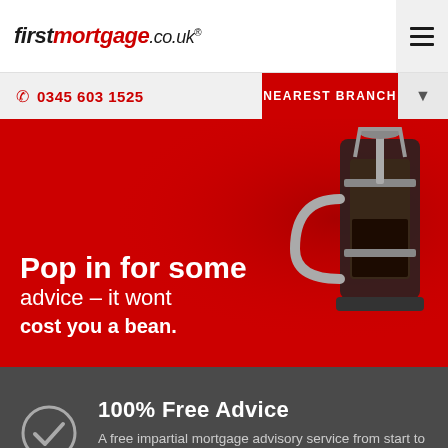firstmortgage.co.uk
0345 603 1525  NEAREST BRANCH
[Figure (screenshot): Hero banner with red background and a French press coffee machine on the right side. Text overlay reads: Pop in for some advice - it wont cost you a bean.]
100% Free Advice
A free impartial mortgage advisory service from start to finish